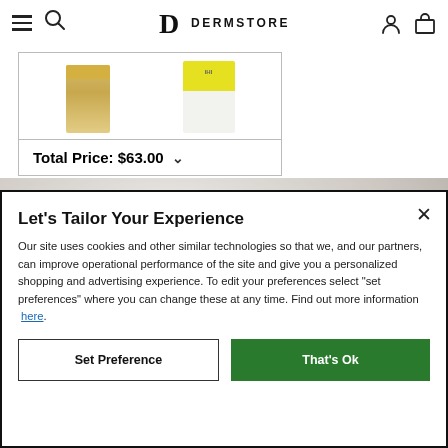DERMSTORE — navigation header with hamburger menu, search, logo, user and bag icons
[Figure (photo): Product bundle box showing two skincare products with total price $63.00 and a dropdown chevron]
[Figure (photo): Hero image of a woman with a white towel on her head, close-up face shot]
Let's Tailor Your Experience
Our site uses cookies and other similar technologies so that we, and our partners, can improve operational performance of the site and give you a personalized shopping and advertising experience. To edit your preferences select "set preferences" where you can change these at any time. Find out more information here.
Set Preference | That's Ok